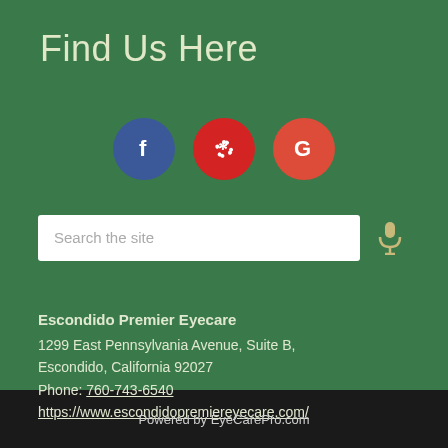Find Us Here
[Figure (other): Three social media icon circles: Facebook (blue), Yelp (red), Google (red-orange)]
Search the site
Escondido Premier Eyecare
1299 East Pennsylvania Avenue, Suite B,
Escondido, California 92027
Phone: 760-743-6540
https://www.escondidopremiereyecare.com/
Powered by EyeCarePro.com